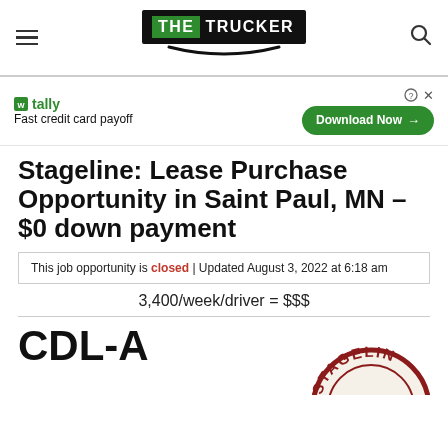THE TRUCKER
[Figure (logo): The Trucker website logo — black background box with green THE and white TRUCKER text, with a swoosh below]
[Figure (infographic): Tally advertisement — Fast credit card payoff with Download Now button]
Stageline: Lease Purchase Opportunity in Saint Paul, MN – $0 down payment
This job opportunity is closed | Updated August 3, 2022 at 6:18 am
3,400/week/driver = $$$
CDL-A
[Figure (logo): Stageline company logo — partial circular logo with maroon/dark red text on cream/white background, partially visible]